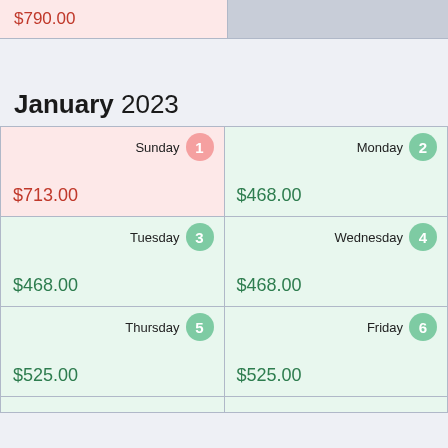| Column1 | Column2 |
| --- | --- |
| $790.00 |  |
January 2023
| Day | Day |
| --- | --- |
| Sunday 1 — $713.00 | Monday 2 — $468.00 |
| Tuesday 3 — $468.00 | Wednesday 4 — $468.00 |
| Thursday 5 — $525.00 | Friday 6 — $525.00 |
| (partial row) |  |